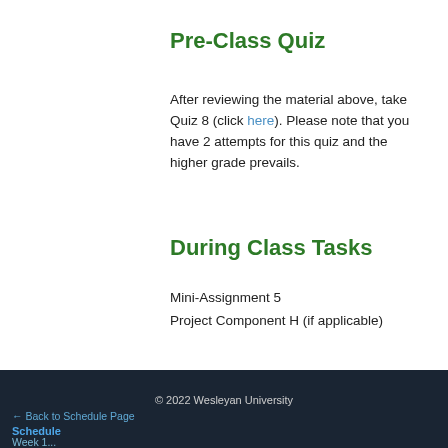Pre-Class Quiz
After reviewing the material above, take Quiz 8 (click here). Please note that you have 2 attempts for this quiz and the higher grade prevails.
During Class Tasks
Mini-Assignment 5
Project Component H (if applicable)
© 2022 Wesleyan University  ← Back to Schedule Page  Schedule  Week 1...